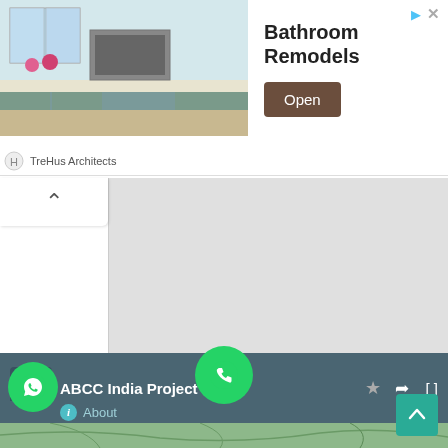[Figure (screenshot): Ad banner for Bathroom Remodels by TreHus Architects with kitchen photo, Open button, and close/ad icons]
[Figure (screenshot): Collapsed panel with chevron/up arrow tab on white background and gray content area]
FOLLOW US ON INSTAGRAM
@HEAVYHAULAGETRUCKS
[Figure (screenshot): ABCC India Project Car... Google Maps bar with About info, share, expand icons and map thumbnail at bottom; WhatsApp, phone call, and scroll-up buttons overlaid]